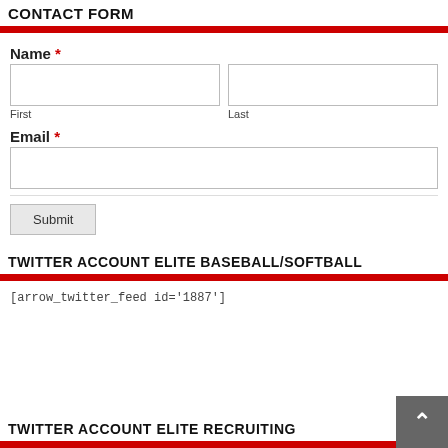CONTACT FORM
Name *
First
Last
Email *
Submit
TWITTER ACCOUNT ELITE BASEBALL/SOFTBALL
[arrow_twitter_feed id='1887']
TWITTER ACCOUNT ELITE RECRUITING